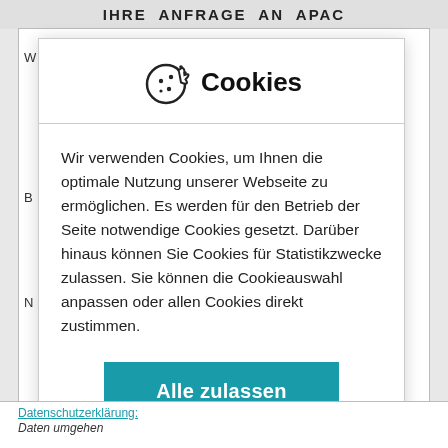IHRE ANFRAGE AN APAC
[Figure (screenshot): Cookie consent modal dialog with cookie icon and title 'Cookies', body text explaining cookie usage, an 'Alle zulassen' button, and a 'Details / Cookieauswahl' link with info icon.]
Cookies
Wir verwenden Cookies, um Ihnen die optimale Nutzung unserer Webseite zu ermöglichen. Es werden für den Betrieb der Seite notwendige Cookies gesetzt. Darüber hinaus können Sie Cookies für Statistikzwecke zulassen. Sie können die Cookieauswahl anpassen oder allen Cookies direkt zustimmen.
Alle zulassen
Details / Cookieauswahl
Datenschutzerklärung: Wie wir mit Ihren persönlichen Daten umgehen